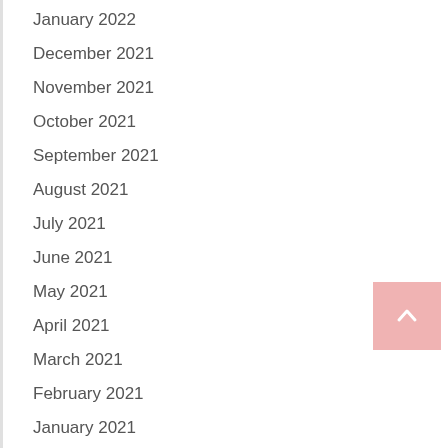January 2022
December 2021
November 2021
October 2021
September 2021
August 2021
July 2021
June 2021
May 2021
April 2021
March 2021
February 2021
January 2021
December 2020
November 2020
October 2020
September 2020
August 2020